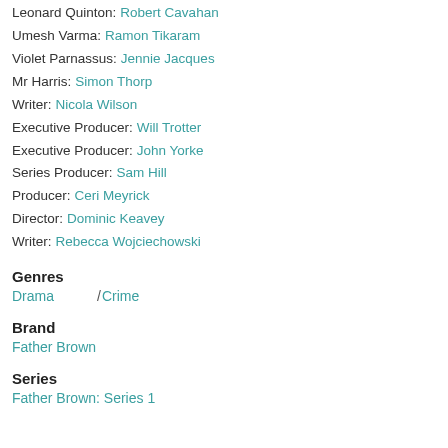Leonard Quinton: Robert Cavahan
Umesh Varma: Ramon Tikaram
Violet Parnassus: Jennie Jacques
Mr Harris: Simon Thorp
Writer: Nicola Wilson
Executive Producer: Will Trotter
Executive Producer: John Yorke
Series Producer: Sam Hill
Producer: Ceri Meyrick
Director: Dominic Keavey
Writer: Rebecca Wojciechowski
Genres
Drama / Crime
Brand
Father Brown
Series
Father Brown: Series 1